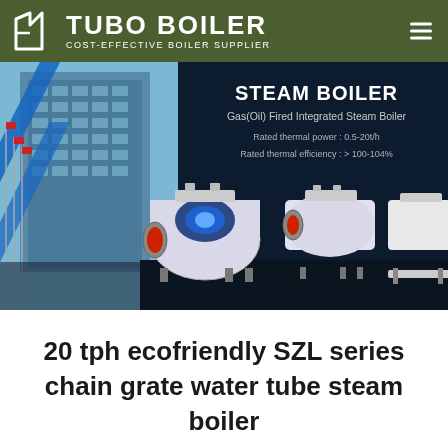TUBO BOILER — COST-EFFECTIVE BOILER SUPPLIER
[Figure (screenshot): Steam Boiler product banner showing Gas(Oil) Fired Integrated Steam Boiler with rated thermal power 0.5-20t/h and rated thermal efficiency >100-104%, featuring three boiler product images on a dark background alongside a building photograph]
20 tph ecofriendly SZL series chain grate water tube steam boiler